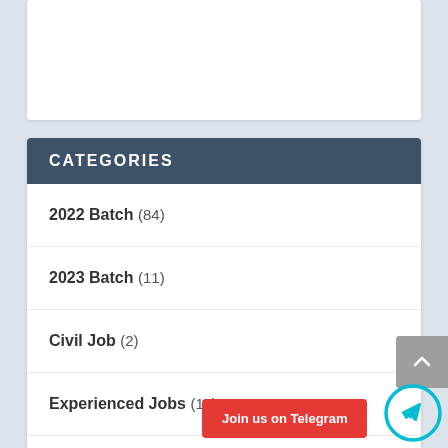CATEGORIES
2022 Batch (84)
2023 Batch (11)
Civil Job (2)
Experienced Jobs (18)
Freshers Jobs (973)
Government Job (62)